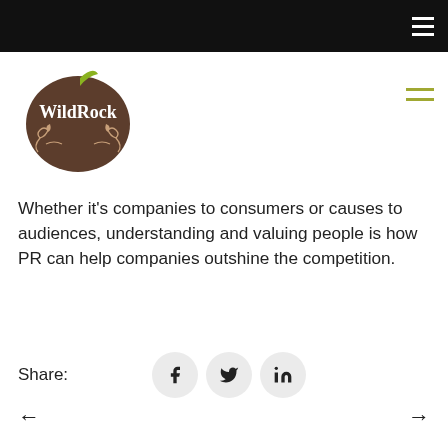[Figure (logo): WildRock logo — brown apple-shaped circle with white serif text 'WildRock' and decorative vine/leaf elements, with a green leaf stem at top]
Whether it's companies to consumers or causes to audiences, understanding and valuing people is how PR can help companies outshine the competition.
Share: